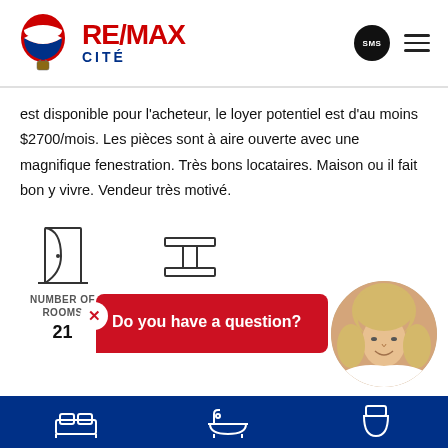[Figure (logo): RE/MAX CITÉ logo with hot air balloon icon]
est disponible pour l'acheteur, le loyer potentiel est d'au moins $2700/mois. Les pièces sont à aire ouverte avec une magnifique fenestration. Très bons locataires. Maison ou il fait bon y vivre. Vendeur très motivé.
[Figure (infographic): NUMBER OF ROOMS icon (door) showing value 21, and YEAR BUILT icon (I-beam) showing 1999]
Do you have a question?
[Figure (photo): Agent headshot - woman with blonde hair smiling]
[Figure (infographic): Footer icons: bed, bathtub, toilet]